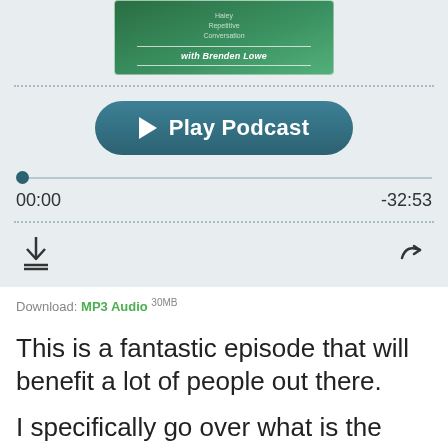[Figure (screenshot): Podcast player widget with green gradient thumbnail showing 'with Brenden Lowe', a Play Podcast button, progress bar at 00:00 of -32:53, download and share icons]
Download: MP3 Audio 30MB
This is a fantastic episode that will benefit a lot of people out there.
I specifically go over what is the